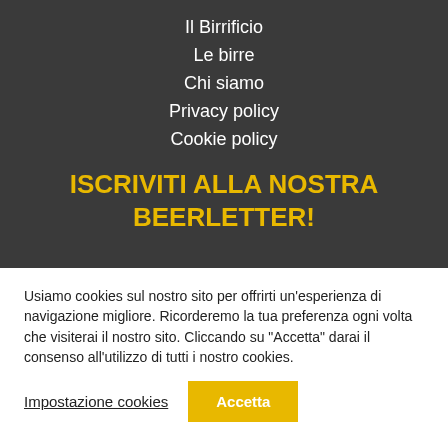Il Birrificio
Le birre
Chi siamo
Privacy policy
Cookie policy
ISCRIVITI ALLA NOSTRA BEERLETTER!
Usiamo cookies sul nostro sito per offrirti un'esperienza di navigazione migliore. Ricorderemo la tua preferenza ogni volta che visiterai il nostro sito. Cliccando su "Accetta" darai il consenso all'utilizzo di tutti i nostro cookies.
Impostazione cookies
Accetta